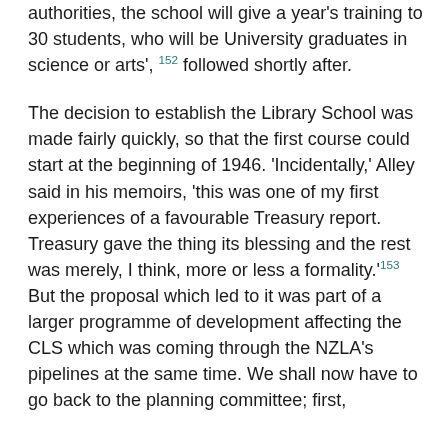authorities, the school will give a year's training to 30 students, who will be University graduates in science or arts', 152 followed shortly after.
The decision to establish the Library School was made fairly quickly, so that the first course could start at the beginning of 1946. 'Incidentally,' Alley said in his memoirs, 'this was one of my first experiences of a favourable Treasury report. Treasury gave the thing its blessing and the rest was merely, I think, more or less a formality.'153 But the proposal which led to it was part of a larger programme of development affecting the CLS which was coming through the NZLA's pipelines at the same time. We shall now have to go back to the planning committee; first,